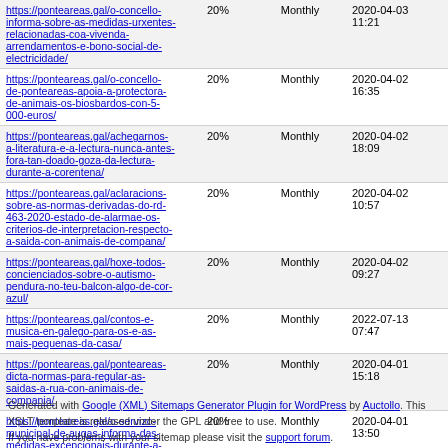| URL | Priority | Change Frequency | Last Modified |
| --- | --- | --- | --- |
| https://ponteareas.gal/o-concello-informa-sobre-as-medidas-urxentes-relacionadas-coa-vivenda-arrendamentos-e-bono-social-de-electricidade/ | 20% | Monthly | 2020-04-03 11:21 |
| https://ponteareas.gal/o-concello-de-ponteareas-apoia-a-protectora-de-animais-os-biosbardos-con-5-000-euros/ | 20% | Monthly | 2020-04-02 16:35 |
| https://ponteareas.gal/achegarnos-a-literatura-e-a-lectura-nunca-antes-fora-tan-doado-goza-da-lectura-durante-a-corentena/ | 20% | Monthly | 2020-04-02 18:09 |
| https://ponteareas.gal/aclaracions-sobre-as-normas-derivadas-do-rd-463-2020-estado-de-alarmae-os-criterios-de-interpretacion-respecto-a-saida-con-animais-de-compana/ | 20% | Monthly | 2020-04-02 10:57 |
| https://ponteareas.gal/hoxe-todos-concienciados-sobre-o-autismo-pendura-no-teu-balcon-algo-de-cor-azul/ | 20% | Monthly | 2020-04-02 09:27 |
| https://ponteareas.gal/contos-e-musica-en-galego-para-os-e-as-mais-pequenas-da-casa/ | 20% | Monthly | 2022-07-13 07:47 |
| https://ponteareas.gal/ponteareas-dicta-normas-para-regular-as-saidas-a-rua-con-animais-de-compania/ | 20% | Monthly | 2020-04-01 15:18 |
| https://ponteareas.gal/o-servizo-municipal-de-augas-informa-das-medidas-excepcionais-durante-a-crise-sanitaria/ | 20% | Monthly | 2020-04-01 13:50 |
| https://ponteareas.gal/o-cim-informa-sobre-as-medidas-adoptadas-nos-reximes-de-custodia-durante-o-estado-de-alarma/ | 20% | Monthly | 2020-04-01 13:31 |
| https://ponteareas.gal/a-biblioteca-celebra-o-dia-do-libro-infantil-unete/ | 20% | Monthly | 2020-04-01 13:56 |
Generated with Google (XML) Sitemaps Generator Plugin for WordPress by Auctollo. This XSLT template is released under the GPL and free to use. If you have problems with your sitemap please visit the support forum.